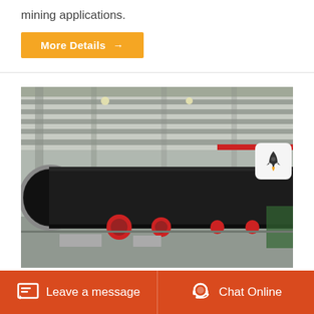mining applications.
More Details →
[Figure (photo): Industrial rotary drum or pipe equipment inside a factory warehouse, showing a large black cylindrical drum/pipe extending horizontally, with red mechanical components visible underneath and industrial shelving in the background.]
Leave a message   Chat Online